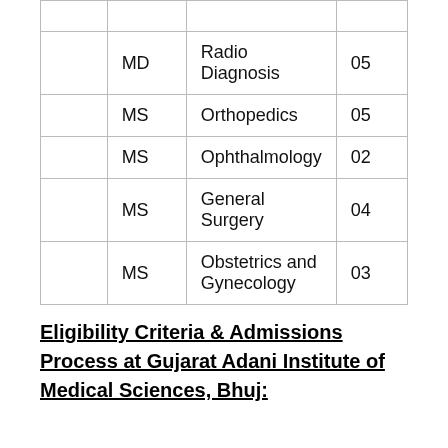|  | MD | Radio Diagnosis | 05 |
|  | MS | Orthopedics | 05 |
|  | MS | Ophthalmology | 02 |
|  | MS | General Surgery | 04 |
|  | MS | Obstetrics and Gynecology | 03 |
Eligibility Criteria & Admissions Process at Gujarat Adani Institute of Medical Sciences, Bhuj: